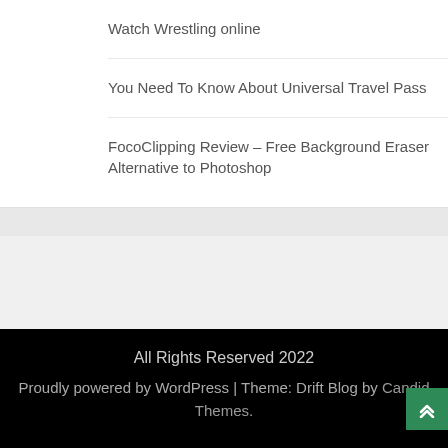Watch Wrestling online
You Need To Know About Universal Travel Pass
FocoClipping Review – Free Background Eraser Alternative to Photoshop
All Rights Reserved 2022
Proudly powered by WordPress | Theme: Drift Blog by Candid Themes.